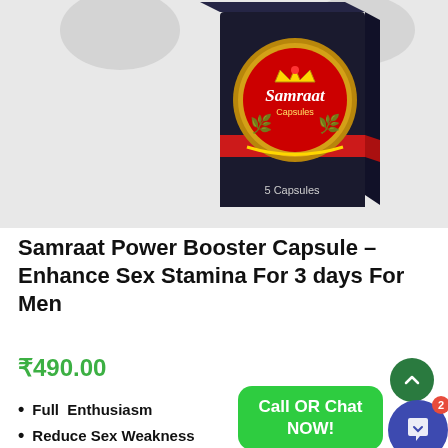[Figure (photo): Product photo of Samraat Capsules box — dark packaging with gold circular badge showing a crown and 'Samraat Capsules' text, red ribbon accent, text '5 Capsules' at bottom, placed against a grey/black background with a partial human figure silhouette.]
Samraat Power Booster Capsule – Enhance Sex Stamina For 3 days For Men
₹490.00
Full  Enthusiasm
Reduce Sex Weakness
[Figure (other): Green rounded rectangle button with text 'Call OR Chat NOW!' and a blue circular chat icon with badge showing '2', plus a green scroll-up circle button with chevron.]